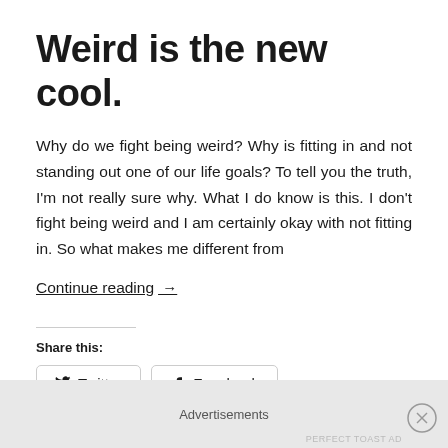Weird is the new cool.
Why do we fight being weird? Why is fitting in and not standing out one of our life goals? To tell you the truth, I'm not really sure why. What I do know is this. I don't fight being weird and I am certainly okay with not fitting in. So what makes me different from
Continue reading →
Share this:
Twitter
Facebook
Advertisements